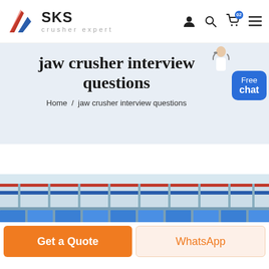[Figure (logo): SKS crusher expert company logo with stylized arrow/wing icon in red, white, blue]
SKS crusher expert
jaw crusher interview questions
Home / jaw crusher interview questions
[Figure (photo): Industrial facility interior showing overhead crane structure with blue panels and red beam]
Get a Quote
WhatsApp